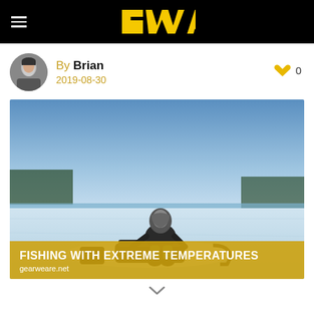GWA
By Brian
2019-08-30
[Figure (photo): Person sitting on ice fishing on a frozen lake with equipment around them, clear blue sky in background. Overlay text: FISHING WITH EXTREME TEMPERATURES / gearweare.net]
FISHING WITH EXTREME TEMPERATURES
gearweare.net